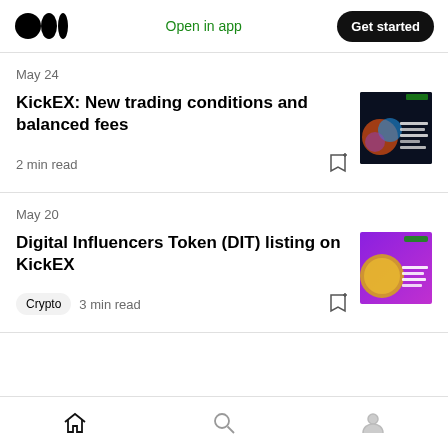Medium logo | Open in app | Get started
May 24
KickEX: New trading conditions and balanced fees
2 min read
May 20
Digital Influencers Token (DIT) listing on KickEX
Crypto  3 min read
Home | Search | Profile